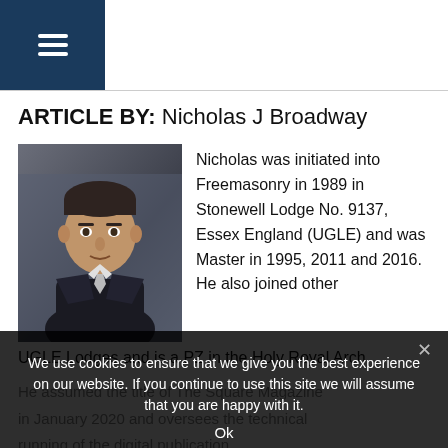Navigation menu header with hamburger icon and horizontal rule
ARTICLE BY: Nicholas J Broadway
[Figure (photo): Portrait photo of Nicholas J Broadway, a middle-aged man in a dark suit and tie, in front of an ornate interior backdrop.]
Nicholas was initiated into Freemasonry in 1989 in Stonewell Lodge No. 9137, Essex England (UGLE) and was Master in 1995, 2011 and 2016. He also joined other UGLE Lodges and is a PZ in the Holy Royal Arch.
We use cookies to ensure that we give you the best experience on our website. If you continue to use this site we will assume that you are happy with it.
Ok